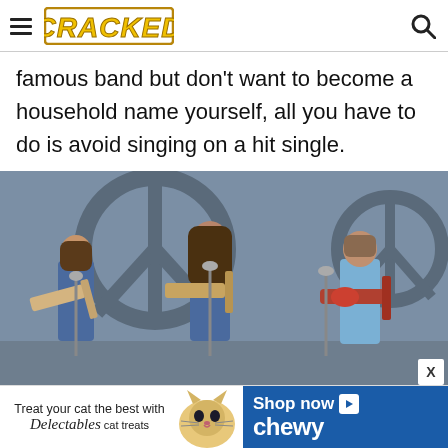CRACKED
famous band but don't want to become a household name yourself, all you have to do is avoid singing on a hit single.
[Figure (photo): Three band members performing on stage, all wearing denim shirts and playing guitars, with microphone stands. A large circular peace sign-like backdrop is visible behind them.]
[Figure (infographic): Advertisement banner: 'Treat your cat the best with Delectables cat treats' on the left with a cat image in the center, and 'Shop now' with Chewy logo on a blue background on the right.]